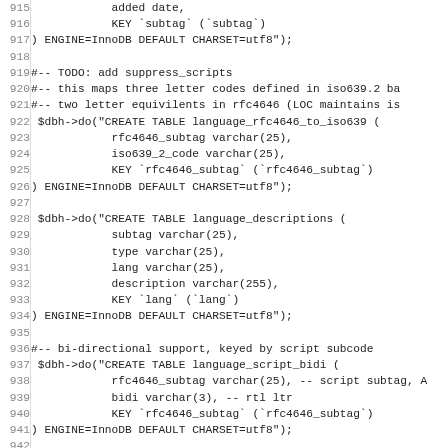Source code listing lines 915-946 showing SQL CREATE TABLE and INSERT statements in Perl/PHP style using $dbh->do()